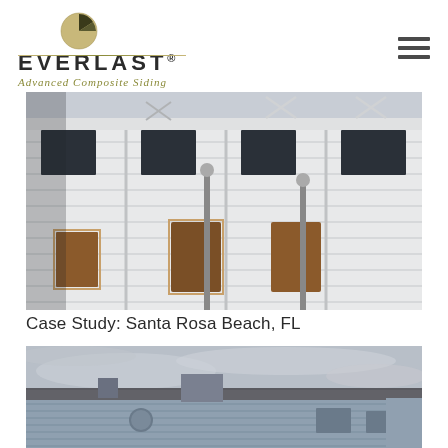[Figure (logo): Everlast Advanced Composite Siding logo with circular icon and gold decorative line]
[Figure (photo): Multi-story white composite siding building with wood-framed windows and balcony railings, Santa Rosa Beach FL]
Case Study: Santa Rosa Beach, FL
[Figure (photo): Exterior view of a house with blue/grey composite siding and a sloped roof against an overcast sky]